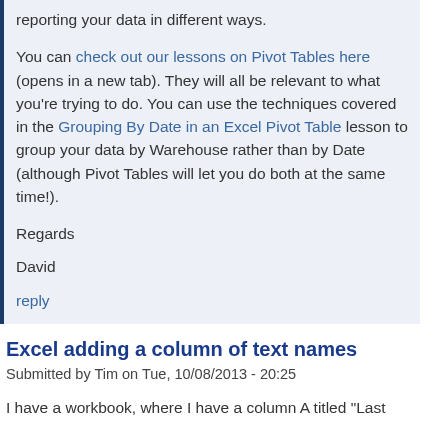reporting your data in different ways.

You can check out our lessons on Pivot Tables here (opens in a new tab). They will all be relevant to what you're trying to do. You can use the techniques covered in the Grouping By Date in an Excel Pivot Table lesson to group your data by Warehouse rather than by Date (although Pivot Tables will let you do both at the same time!).

Regards

David

reply
Excel adding a column of text names
Submitted by Tim on Tue, 10/08/2013 - 20:25
I have a workbook, where I have a column A titled "Last